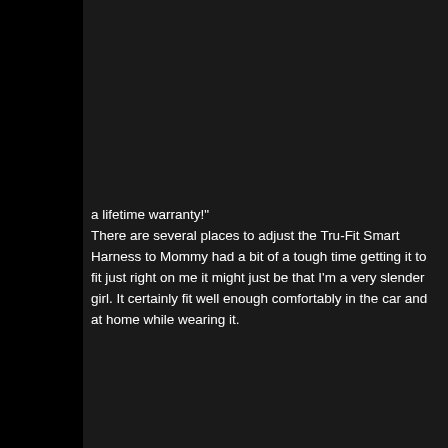a lifetime warranty!" There are several places to adjust the Tru-Fit Smart Harness to Mommy had a bit of a tough time getting it to fit just right on me it might just be that I'm a very slender girl. It certainly fit well enough comfortably in the car and at home while wearing it.